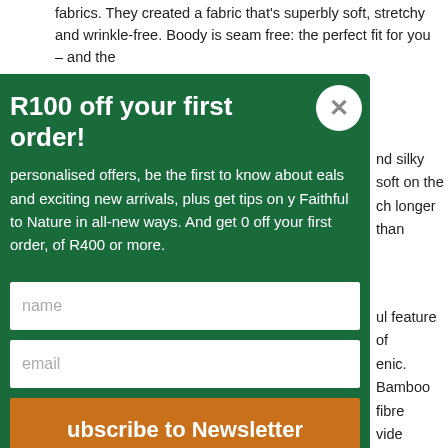fabrics. They created a fabric that's superbly soft, stretchy and wrinkle-free. Boody is seam free: the perfect fit for you – and the
[Figure (screenshot): Newsletter signup modal overlay on a green background. Title: 'R100 off your first order!' with a close (X) button. Body text about personalised offers, deals and new arrivals, tips on being Faithful to Nature, and R100 off first order of R400 or more. Input fields for name and email, and an orange 'Subscribe to Newsletter' button.]
nd silky soft on the ch longer than
ul feature of enic. Bamboo fibre vide substantial ibre is hydroscopic evaporated ily. Particularly xtra sensitive skin.
tains a super Bamboo Kun, these hings of Bamboo ill keep you fresh all day every day.
Anti-static and thermo-regulating- The structure of the bamboo fibres contains micro-gaps, which provide ventilation and pull moisture away from the body, allowing the skin to